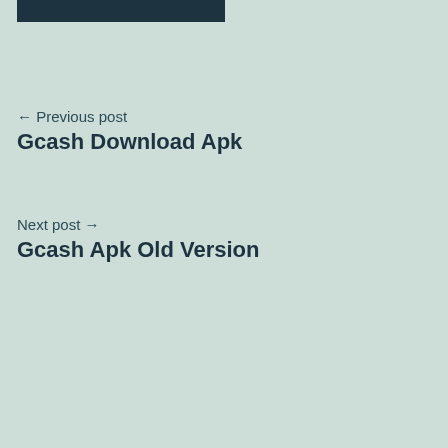[Figure (other): Dark navy/teal header bar at the top of the page]
← Previous post
Gcash Download Apk
Next post →
Gcash Apk Old Version